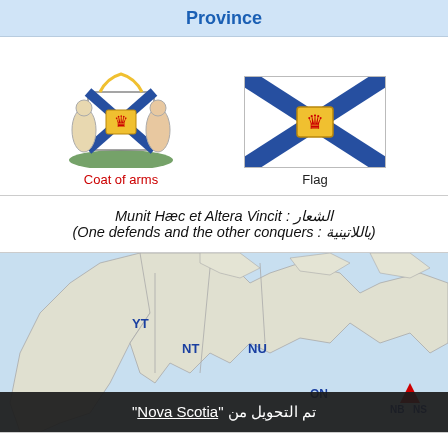Province
[Figure (illustration): Coat of arms of Nova Scotia: heraldic shield with supporters, blue and gold colors]
Coat of arms
[Figure (illustration): Flag of Nova Scotia: white background with blue saltire (X cross) and gold shield with red lion in center]
Flag
الشعار : Munit Hæc et Altera Vincit (باللاتينية : One defends and the other conquers)
[Figure (map): Map of Canada showing provinces and territories with Nova Scotia highlighted. Labels visible: YT, NT, NU, ON, NB, NS.]
تم التحويل من "Nova Scotia"